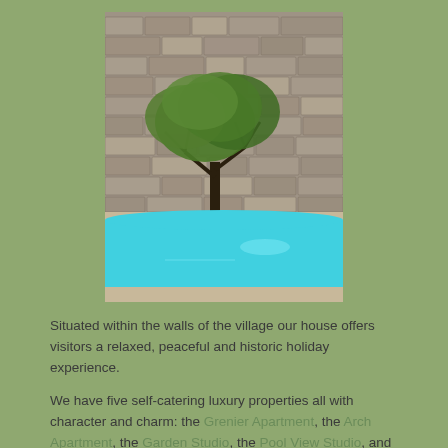[Figure (photo): A stone-walled building with a large tree in front, and a bright blue oval swimming pool in the foreground.]
Situated within the walls of the village our house offers visitors a relaxed, peaceful and historic holiday experience.
We have five self-catering luxury properties all with character and charm: the Grenier Apartment, the Arch Apartment, the Garden Studio, the Pool View Studio, and our newest addition in 2018, the Terrace